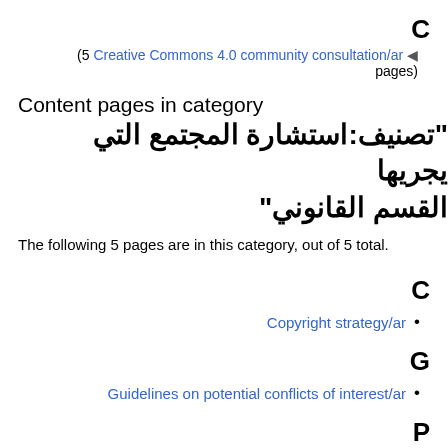C
(5 Creative Commons 4.0 community consultation/ar ◄ pages)
Content pages in category "تصنيف:استشارة المجتمع التي يجريها القسم القانوني"
The following 5 pages are in this category, out of 5 total.
C
Copyright strategy/ar
G
Guidelines on potential conflicts of interest/ar
P